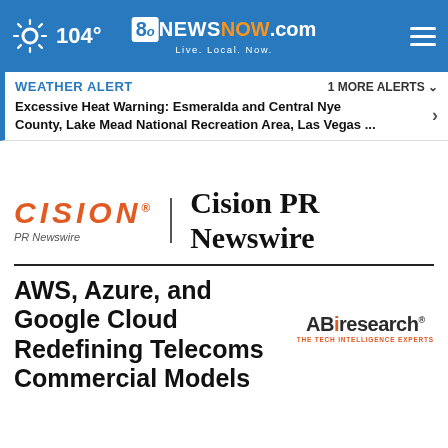104° 8NewsNow.com Live. Local. Now.
WEATHER ALERT   1 MORE ALERTS ›
Excessive Heat Warning: Esmeralda and Central Nye County, Lake Mead National Recreation Area, Las Vegas ...
[Figure (logo): Cision PR Newswire logo — orange italic CISION text with trademark, 'PR Newswire' subtitle, vertical divider bar, and 'Cision PR Newswire' in large bold serif text]
AWS, Azure, and Google Cloud Redefining Telecoms Commercial Models
[Figure (logo): ABI Research logo — bold ABi in dark/orange with 'research' and trademark, tagline 'The Tech Intelligence Experts']